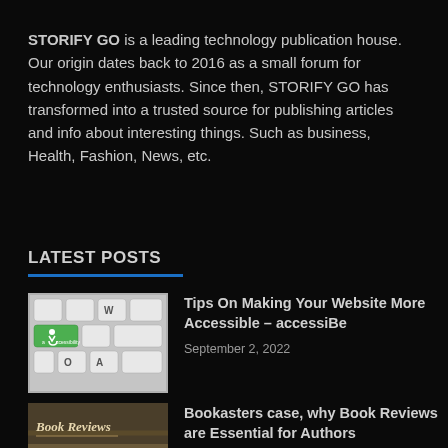STORIFY GO is a leading technology publication house. Our origin dates back to 2016 as a small forum for technology enthusiasts. Since then, STORIFY GO has transformed into a trusted source for publishing articles and info about interesting things. Such as business, Health, Fashion, News, etc.
LATEST POSTS
[Figure (photo): Close-up photo of a keyboard with a green accessibility key showing the wheelchair accessibility symbol and the word 'accessibility']
Tips On Making Your Website More Accessible – accessiBe
September 2, 2022
[Figure (photo): Photo with text 'Book Reviews' visible]
Bookasters case, why Book Reviews are Essential for Authors